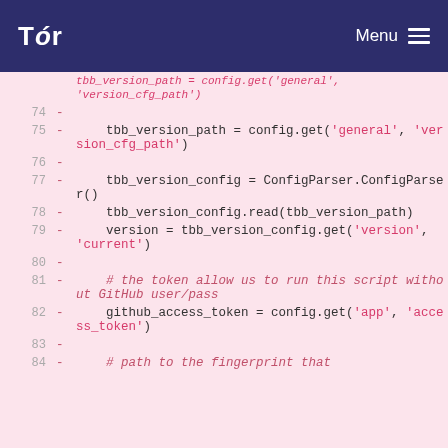Tor | Menu
[Figure (screenshot): Code diff view showing Python code lines 74-84 with removed lines (marked with '-') on a pink background. Code includes tbb_version_path, tbb_version_config, version, and github_access_token variable assignments.]